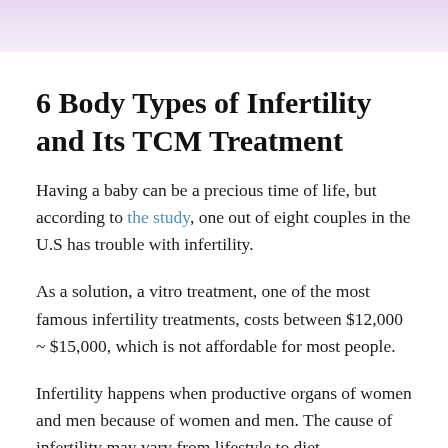[Figure (photo): Partial view of a soft lavender/pink toned banner image at the top of the page, likely showing a baby or pregnancy-related image.]
6 Body Types of Infertility and Its TCM Treatment
Having a baby can be a precious time of life, but according to the study, one out of eight couples in the U.S has trouble with infertility.
As a solution, a vitro treatment, one of the most famous infertility treatments, costs between $12,000 ~ $15,000, which is not affordable for most people.
Infertility happens when productive organs of women and men because of women and men. The cause of infertility may vary from lifestyle to diet.